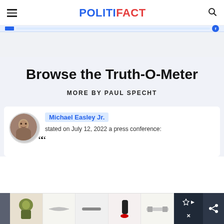POLITIFACT
Browse the Truth-O-Meter
MORE BY PAUL SPECHT
Michael Easley Jr. stated on July 12, 2022 a press conference:
[Figure (photo): Advertisement banner with product images at the bottom of the page]